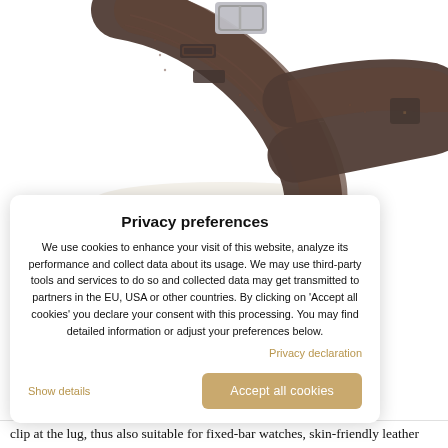[Figure (photo): Dark brown leather watch strap with a silver buckle, shown unrolled against a white background. A small brand logo is visible on the strap end.]
Privacy preferences
We use cookies to enhance your visit of this website, analyze its performance and collect data about its usage. We may use third-party tools and services to do so and collected data may get transmitted to partners in the EU, USA or other countries. By clicking on 'Accept all cookies' you declare your consent with this processing. You may find detailed information or adjust your preferences below.
Privacy declaration
Show details
Accept all cookies
clip at the lug, thus also suitable for fixed-bar watches, skin-friendly leather